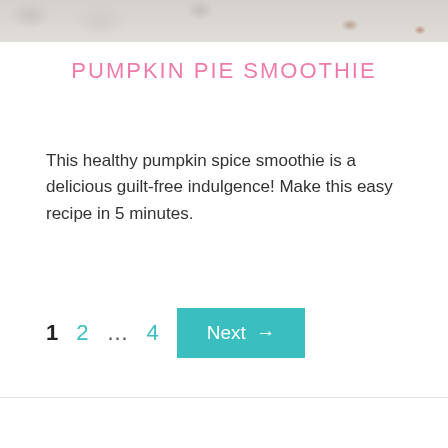[Figure (photo): Cropped top portion of a food/lifestyle photo showing what appears to be yarn or similar textured items on a light surface with some scattered spices or similar small brown elements]
PUMPKIN PIE SMOOTHIE
This healthy pumpkin spice smoothie is a delicious guilt-free indulgence! Make this easy recipe in 5 minutes.
1  2  ...  4  Next →